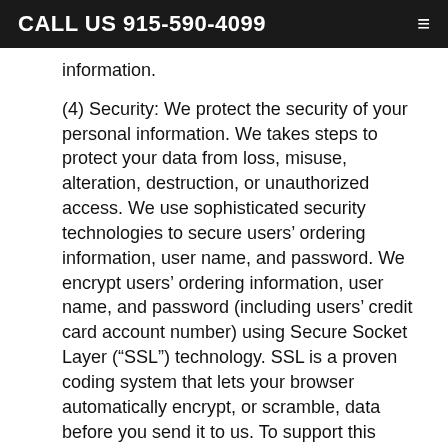CALL US 915-590-4099
information.
(4) Security: We protect the security of your personal information. We takes steps to protect your data from loss, misuse, alteration, destruction, or unauthorized access. We use sophisticated security technologies to secure users’ ordering information, user name, and password. We encrypt users’ ordering information, user name, and password (including users’ credit card account number) using Secure Socket Layer (“SSL”) technology. SSL is a proven coding system that lets your browser automatically encrypt, or scramble, data before you send it to us. To support this technology, users must have an SSL-capable browser. SSL is one of the safest encryption technologies available,